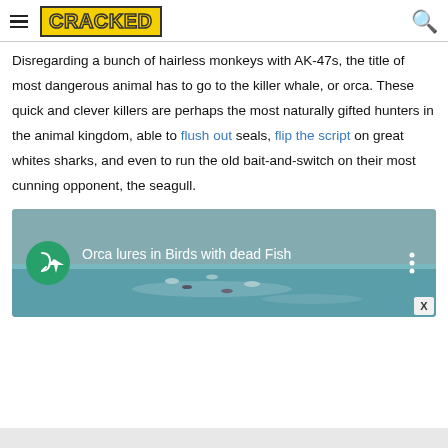CRACKED
Disregarding a bunch of hairless monkeys with AK-47s, the title of most dangerous animal has to go to the killer whale, or orca. These quick and clever killers are perhaps the most naturally gifted hunters in the animal kingdom, able to flush out seals, flip the script on great whites sharks, and even to run the old bait-and-switch on their most cunning opponent, the seagull.
[Figure (screenshot): Video thumbnail showing seagulls on water with title 'Orca lures in Birds with dead Fish' and a green circular play button icon. A three-dot menu is visible on the right and an X close button in the lower right corner.]